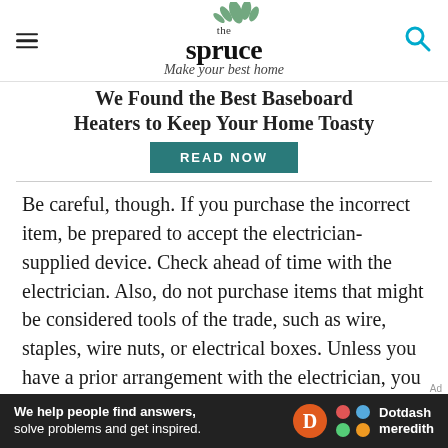the spruce — Make your best home
We Found the Best Baseboard Heaters to Keep Your Home Toasty
READ NOW
Be careful, though. If you purchase the incorrect item, be prepared to accept the electrician-supplied device. Check ahead of time with the electrician. Also, do not purchase items that might be considered tools of the trade, such as wire, staples, wire nuts, or electrical boxes. Unless you have a prior arrangement with the electrician, you may be
[Figure (advertisement): Dotdash Meredith advertisement banner: 'We help people find answers, solve problems and get inspired.' with D circle logo and Dotdash meredith logo]